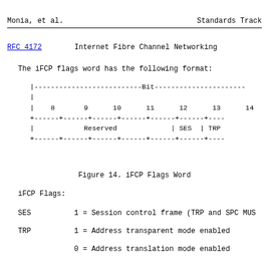Monia, et al.                    Standards Track
RFC 4172          Internet Fibre Channel Networking
The iFCP flags word has the following format:
[Figure (schematic): iFCP Flags Word bit diagram showing bits 8-14, with Reserved field spanning bits 8-12, SES at bit 13, and TRP at bit 14]
Figure 14. iFCP Flags Word
iFCP Flags:
SES   1 = Session control frame (TRP and SPC MUS
TRP   1 = Address transparent mode enabled
0 = Address translation mode enabled